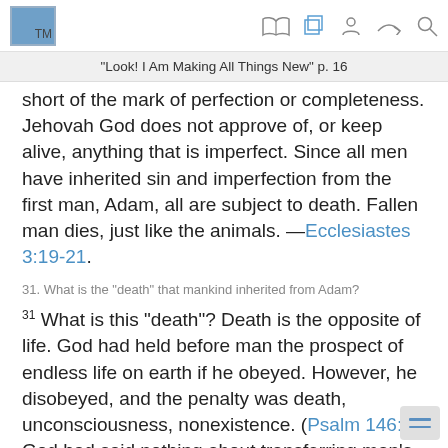"Look! I Am Making All Things New" p. 16
short of the mark of perfection or completeness. Jehovah God does not approve of, or keep alive, anything that is imperfect. Since all men have inherited sin and imperfection from the first man, Adam, all are subject to death. Fallen man dies, just like the animals. —Ecclesiastes 3:19-21.
31. What is the “death” that mankind inherited from Adam?
31 What is this “death”? Death is the opposite of life. God had held before man the prospect of endless life on earth if he obeyed. However, he disobeyed, and the penalty was death, unconsciousness, nonexistence. (Psalm 146:4) God had said nothing about transferring man’s life to a spirit realm or to a fiery “hell” if he disobeyed or died. He had warned man: “You will